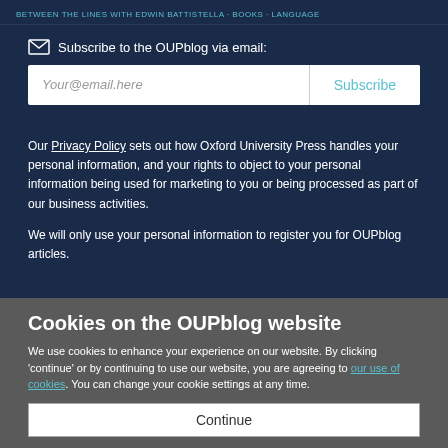BETWEEN THE LINES WITH EDWIN BATTISTELLA · BOOKS · LANGUAGE
Subscribe to the OUPblog via email:
Your@email.here
Subscribe
Our Privacy Policy sets out how Oxford University Press handles your personal information, and your rights to object to your personal information being used for marketing to you or being processed as part of our business activities.
We will only use your personal information to register you for OUPblog articles.
Cookies on the OUPblog website
We use cookies to enhance your experience on our website. By clicking 'continue' or by continuing to use our website, you are agreeing to our use of cookies. You can change your cookie settings at any time.
Continue